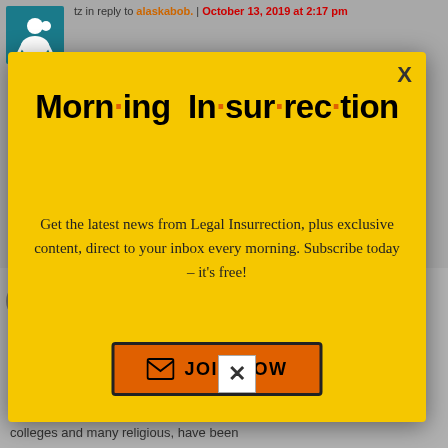tz in reply to alaskabob. | October 13, 2019 at 2:17 pm
Until “Furries” are added to LGBTQIA-F.
[Figure (screenshot): Morning Insurrection newsletter popup overlay with yellow background, bold title 'Morn·ing In·sur·rec·tion', description text, and orange JOIN NOW button]
puhiawa | October 13, 2019 at 1:23 pm
[Figure (screenshot): Fiverr advertisement banner: 'Working from home? Get your projects done on fiverr']
colleges and many religious, have been